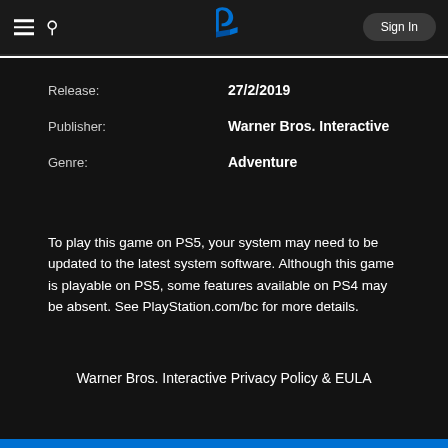PlayStation Store — Sign In
| Field | Value |
| --- | --- |
| Release: | 27/2/2019 |
| Publisher: | Warner Bros. Interactive |
| Genre: | Adventure |
To play this game on PS5, your system may need to be updated to the latest system software. Although this game is playable on PS5, some features available on PS4 may be absent. See PlayStation.com/bc for more details.
Warner Bros. Interactive Privacy Policy & EULA